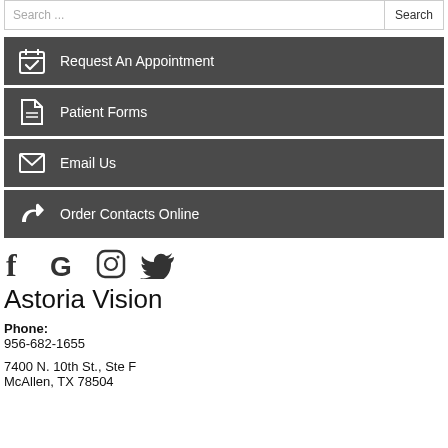Search ...
Request An Appointment
Patient Forms
Email Us
Order Contacts Online
[Figure (illustration): Social media icons: Facebook, Google, Instagram, Twitter]
Astoria Vision
Phone:
956-682-1655
7400 N. 10th St., Ste F
McAllen, TX 78504